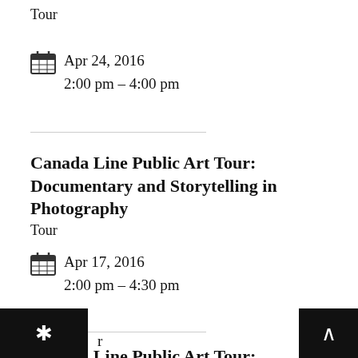Tour
Apr 24, 2016
2:00 pm – 4:00 pm
Canada Line Public Art Tour: Documentary and Storytelling in Photography
Tour
Apr 17, 2016
2:00 pm – 4:30 pm
Canada Line Public Art Tour: Documentary and Storytelling in Photography
Tour (truncated)